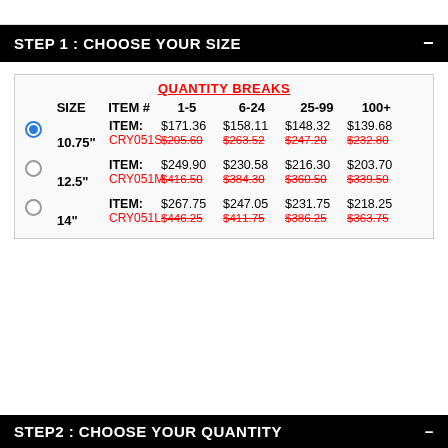STEP 1 : CHOOSE YOUR SIZE
| SIZE | ITEM # | 1-5 | 6-24 | 25-99 | 100+ |
| --- | --- | --- | --- | --- | --- |
| 10.75" | CRY051S | $171.36 / $205.60 | $158.11 / $263.52 | $148.32 / $247.20 | $139.68 / $232.80 |
| 12.5" | CRY051M | $249.90 / $416.50 | $230.58 / $384.30 | $216.30 / $360.50 | $203.70 / $339.50 |
| 14" | CRY051L | $267.75 / $446.25 | $247.05 / $411.75 | $231.75 / $386.25 | $218.25 / $363.75 |
STEP2 : CHOOSE YOUR QUANTITY